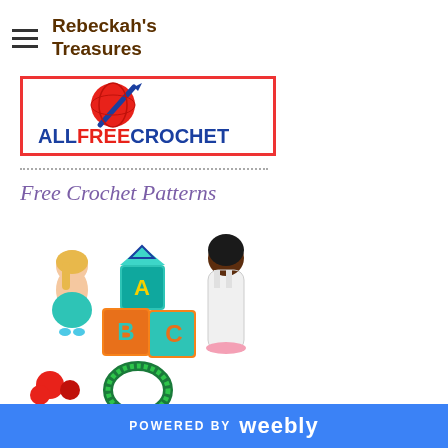Rebeckah's Treasures
[Figure (logo): AllFreeCrochet logo with red yarn ball and blue needle, text ALL FREE CROCHET in blue]
[Figure (illustration): Free Crochet Patterns banner with cursive purple title and collage of crocheted dolls, ABC blocks, Barbie in white dress, red flowers, green wreath]
POWERED BY weebly